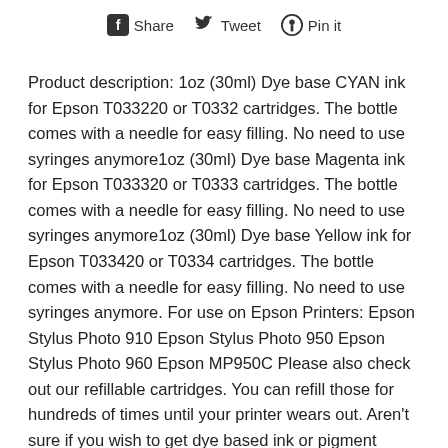Share  Tweet  Pin it
Product description: 1oz (30ml) Dye base CYAN ink for Epson T033220 or T0332 cartridges. The bottle comes with a needle for easy filling. No need to use syringes anymore1oz (30ml) Dye base Magenta ink for Epson T033320 or T0333 cartridges. The bottle comes with a needle for easy filling. No need to use syringes anymore1oz (30ml) Dye base Yellow ink for Epson T033420 or T0334 cartridges. The bottle comes with a needle for easy filling. No need to use syringes anymore. For use on Epson Printers: Epson Stylus Photo 910 Epson Stylus Photo 950 Epson Stylus Photo 960 Epson MP950C Please also check out our refillable cartridges. You can refill those for hundreds of times until your printer wears out. Aren't sure if you wish to get dye based ink or pigment based ink? Read the following facts: Pigment based ink is more water resistant. When submerged in water, pigment based ink only bleed